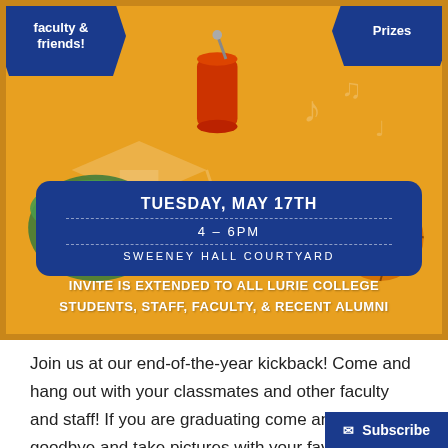[Figure (infographic): Event flyer with gold/yellow background, decorative elements (graduation cap, soda can, music notes, salad bowl, sports equipment), two blue starburst badges saying 'faculty & friends!' and 'Prizes', a blue rounded rectangle info box with date TUESDAY, MAY 17TH, time 4-6PM, location SWEENEY HALL COURTYARD, and white bold text at bottom: INVITE IS EXTENDED TO ALL LURIE COLLEGE STUDENTS, STAFF, FACULTY, & RECENT ALUMNI]
Join us at our end-of-the-year kickback! Come and hang out with your classmates and other faculty and staff! If you are graduating come and say goodbye and take pictures with your favorite faculty (: Come and hang out on Tuesday, May 17th from 4-6 pm in the Swee...